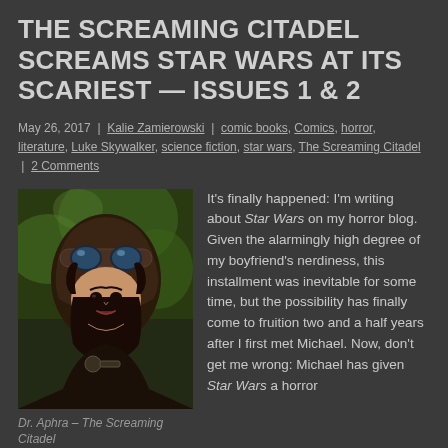THE SCREAMING CITADEL SCREAMS STAR WARS AT ITS SCARIEST — ISSUES 1 & 2
May 26, 2017  |  Kalie Zamierowski  |  comic books, Comics, horror, literature, Luke Skywalker, science fiction, star wars, The Screaming Citadel  |  2 Comments
[Figure (illustration): Comic book artwork of Dr. Aphra – a woman with goggles/helmet, dark hair, looking up with a slight smirk. Background is green and dark.]
Dr. Aphra – The Screaming Citadel
It's finally happened: I'm writing about Star Wars on my horror blog.  Given the alarmingly high degree of my boyfriend's nerdiness, this installment was inevitable for some time, but the possibility has finally come to fruition two and a half years after I first met Michael.  Now, don't get me wrong: Michael has given Star Wars a horror